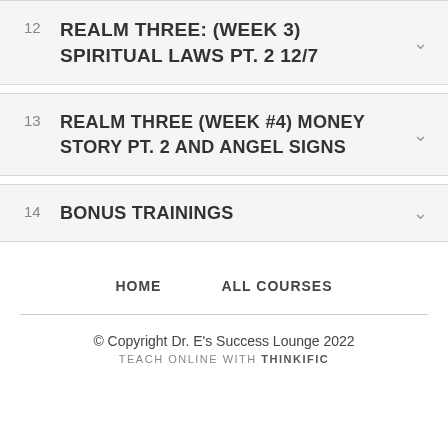12 REALM THREE: (WEEK 3) SPIRITUAL LAWS PT. 2 12/7
13 REALM THREE (WEEK #4) MONEY STORY PT. 2 AND ANGEL SIGNS
14 BONUS TRAININGS
HOME    ALL COURSES
© Copyright Dr. E's Success Lounge 2022 TEACH ONLINE WITH THINKIFIC